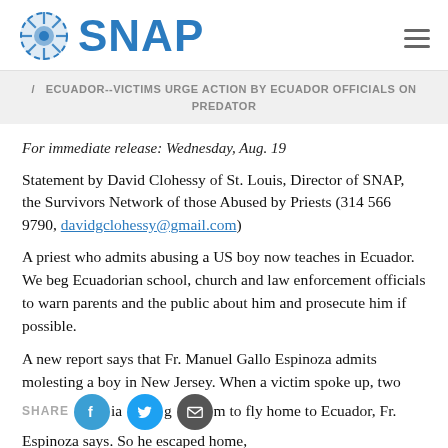SNAP
ECUADOR--VICTIMS URGE ACTION BY ECUADOR OFFICIALS ON PREDATOR
For immediate release: Wednesday, Aug. 19
Statement by David Clohessy of St. Louis, Director of SNAP, the Survivors Network of those Abused by Priests (314 566 9790, davidgclohessy@gmail.com)
A priest who admits abusing a US boy now teaches in Ecuador. We beg Ecuadorian school, church and law enforcement officials to warn parents and the public about him and prosecute him if possible.
A new report says that Fr. Manuel Gallo Espinoza admits molesting a boy in New Jersey. When a victim spoke up, two church officials got him to fly home to Ecuador, Fr. Espinoza says. So he escaped home,